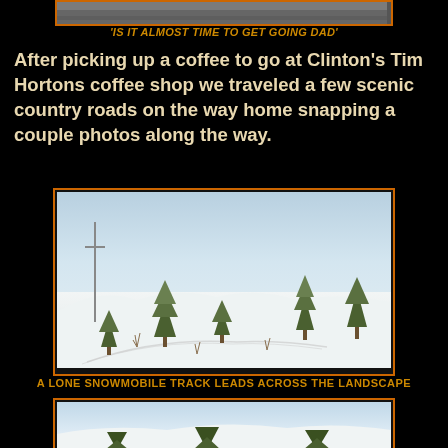[Figure (photo): Top portion of a photo visible at the top of the page, showing a partial cropped image]
'IS IT ALMOST TIME TO GET GOING DAD'
After picking up a coffee to go at Clinton's Tim Hortons coffee shop we traveled a few scenic country roads on the way home snapping a couple photos along the way.
[Figure (photo): A snowy winter landscape with sparse young evergreen trees and bare shrubs scattered across rolling snow-covered hills. A lone snowmobile track is visible winding across the snow.]
A LONE SNOWMOBILE TRACK LEADS ACROSS THE LANDSCAPE
[Figure (photo): Another snowy winter landscape with evergreen trees and snow-covered rolling hills, partially visible at the bottom of the page.]